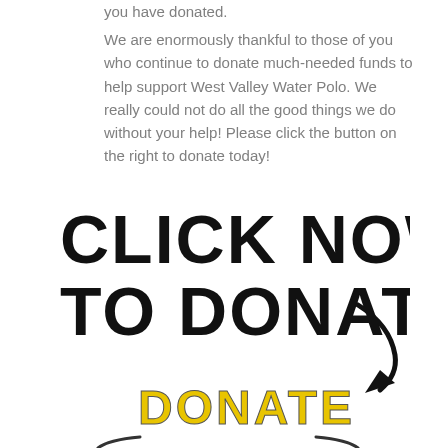you have donated.
We are enormously thankful to those of you who continue to donate much-needed funds to help support West Valley Water Polo. We really could not do all the good things we do without your help! Please click the button on the right to donate today!
[Figure (illustration): Large bold text 'CLICK NOW TO DONATE' with a curved arrow pointing down-right, in a distressed/grunge font style, black on white]
[Figure (logo): A donate button graphic showing the word DONATE in yellow bold letters with a viking helmet illustration below it]